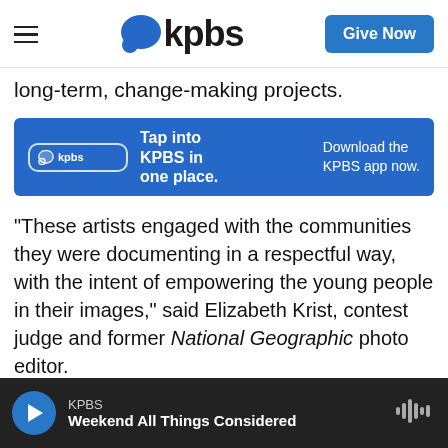KPBS | Give Now
long-term, change-making projects.
[Figure (infographic): KPBS app advertisement banner: 'Tap into KPBS in one place. Download the KPBS app now.']
"These artists engaged with the communities they were documenting in a respectful way, with the intent of empowering the young people in their images," said Elizabeth Krist, contest judge and former National Geographic photo editor.
NPR spoke to the three winners — Matika Wilbur, Karen Zusman and Anna Boyiazis — who expounded on their work and intentions, and to
KPBS | Weekend All Things Considered